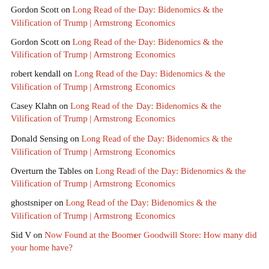Gordon Scott on Long Read of the Day: Bidenomics & the Vilification of Trump | Armstrong Economics
Gordon Scott on Long Read of the Day: Bidenomics & the Vilification of Trump | Armstrong Economics
robert kendall on Long Read of the Day: Bidenomics & the Vilification of Trump | Armstrong Economics
Casey Klahn on Long Read of the Day: Bidenomics & the Vilification of Trump | Armstrong Economics
Donald Sensing on Long Read of the Day: Bidenomics & the Vilification of Trump | Armstrong Economics
Overturn the Tables on Long Read of the Day: Bidenomics & the Vilification of Trump | Armstrong Economics
ghostsniper on Long Read of the Day: Bidenomics & the Vilification of Trump | Armstrong Economics
Sid V on Now Found at the Boomer Goodwill Store: How many did your home have?